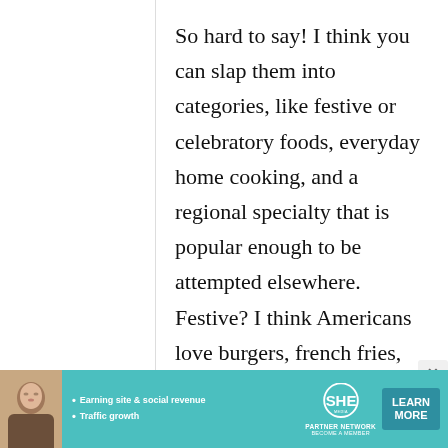So hard to say! I think you can slap them into categories, like festive or celebratory foods, everyday home cooking, and a regional specialty that is popular enough to be attempted elsewhere. Festive? I think Americans love burgers, french fries, and beer. Home...
[Figure (infographic): Advertisement banner for SHE Partner Network. Teal/turquoise background with a woman photo on the left, bullet points 'Earning site & social revenue' and 'Traffic growth', SHE Partner Network logo in center, and a 'LEARN MORE' button on the right.]